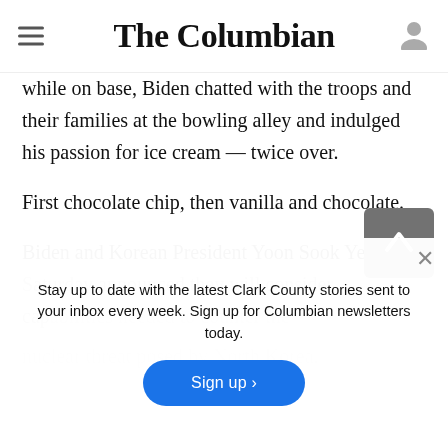The Columbian
while on base, Biden chatted with the troops and their families at the bowling alley and indulged his passion for ice cream — twice over. First chocolate chip, then vanilla and chocolate.
Biden and Korean President Yoon Sook Yeol on Saturday announced they will consider capabilities needed to counter the nuclear threat posed by North Korea.
Stay up to date with the latest Clark County stories sent to your inbox every week. Sign up for Columbian newsletters today.